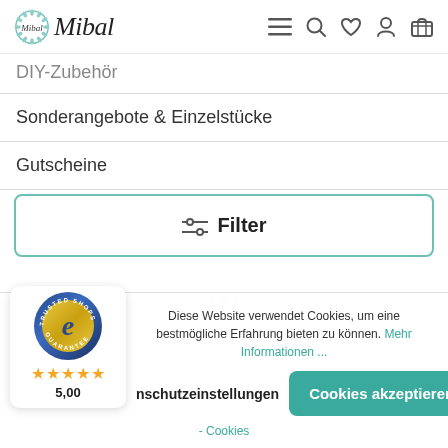[Figure (logo): Mibal shop logo with decorative wreath icon and italic script text]
DIY-Zubehör
Sonderangebote & Einzelstücke
Gutscheine
[Figure (other): Filter button with sliders icon and text 'Filter']
Diese Website verwendet Cookies, um eine bestmögliche Erfahrung bieten zu können. Mehr Informationen ...
nschutzeinstellungen
Cookies akzeptieren
- Cookies
[Figure (logo): Trusted Shops guarantee badge with gold circle and 'e' letter, 5 gold stars, rating 5,00]